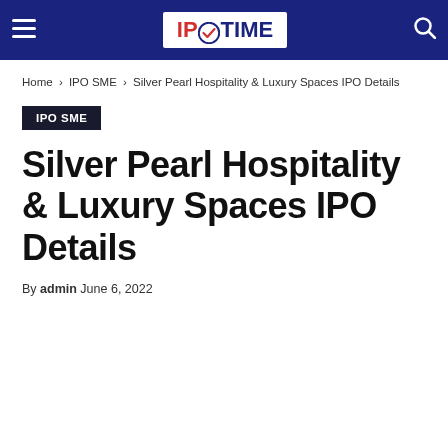IPO TIME
Home › IPO SME › Silver Pearl Hospitality & Luxury Spaces IPO Details
IPO SME
Silver Pearl Hospitality & Luxury Spaces IPO Details
By admin June 6, 2022